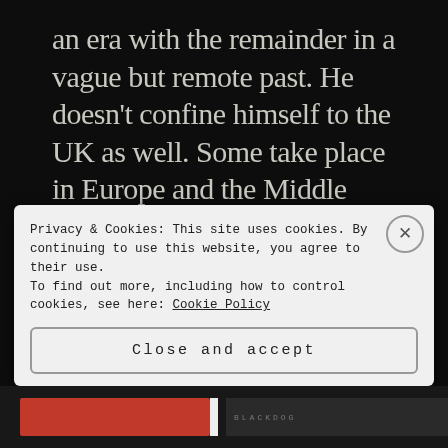an era with the remainder in a vague but remote past. He doesn't confine himself to the UK as well. Some take place in Europe and the Middle East and do not always have a strict Folk Horror vibe but are very compelling nonetheless. My descriptions are admittedly vague to avoid spoilers.
The standouts for me were:
Privacy & Cookies: This site uses cookies. By continuing to use this website, you agree to their use.
To find out more, including how to control cookies, see here: Cookie Policy
Close and accept